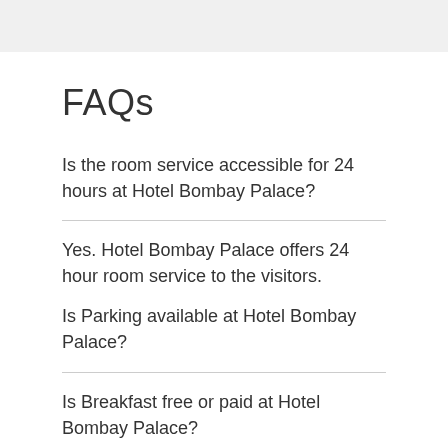FAQs
Is the room service accessible for 24 hours at Hotel Bombay Palace?
Yes. Hotel Bombay Palace offers 24 hour room service to the visitors.
Is Parking available at Hotel Bombay Palace?
Is Breakfast free or paid at Hotel Bombay Palace?